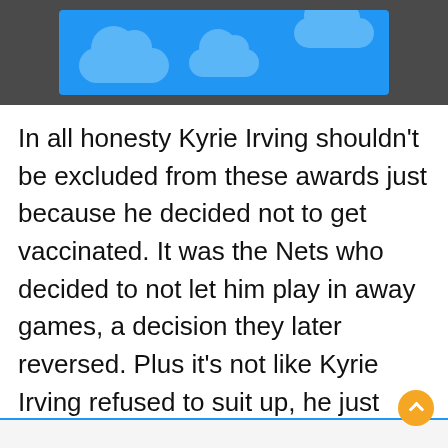[Figure (illustration): Dark grey top bar containing a blue banner/image with lighter blue cloud shapes on a sky-blue background]
In all honesty Kyrie Irving shouldn't be excluded from these awards just because he decided not to get vaccinated. It was the Nets who decided to not let him play in away games, a decision they later reversed. Plus it's not like Kyrie Irving refused to suit up, he just wasn't allowed to due to a strange vaccine mandate law that was later changed.